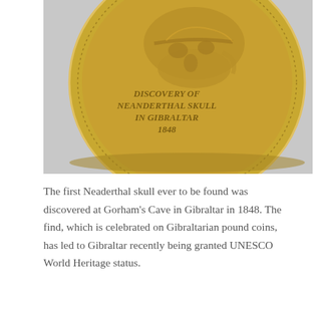[Figure (photo): Close-up photograph of a gold-colored Gibraltarian pound coin showing a Neanderthal skull relief with the inscription 'DISCOVERY OF NEANDERTHAL SKULL IN GIBRALTAR 1848' in italic lettering, with a dotted border around the coin's edge.]
The first Neaderthal skull ever to be found was discovered at Gorham's Cave in Gibraltar in 1848. The find, which is celebrated on Gibraltarian pound coins, has led to Gibraltar recently being granted UNESCO World Heritage status.